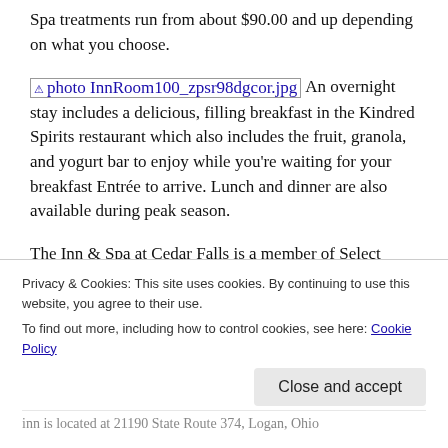Spa treatments run from about $90.00 and up depending on what you choose.
[photo InnRoom100_zpsr98dgcor.jpg] An overnight stay includes a delicious, filling breakfast in the Kindred Spirits restaurant which also includes the fruit, granola, and yogurt bar to enjoy while you're waiting for your breakfast Entrée to arrive. Lunch and dinner are also available during peak season.
The Inn & Spa at Cedar Falls is a member of Select Registry, a diverse collection of independent, boutique properties that give customers personalized
Privacy & Cookies: This site uses cookies. By continuing to use this website, you agree to their use.
To find out more, including how to control cookies, see here: Cookie Policy
inn is located at 21190 State Route 374, Logan, Ohio